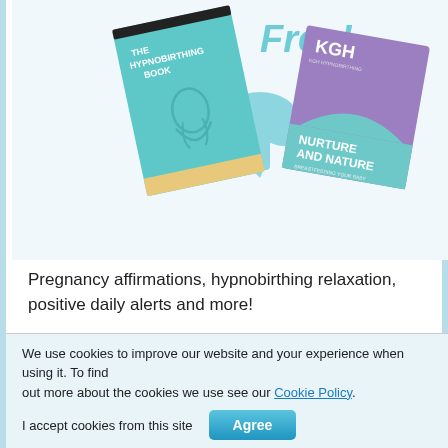[Figure (illustration): Promotional image showing two books: 'The Hypnobirthing Book' (teal cover) and 'KGH Nurture and Nature' (purple cover), with a teal 'Free!' text and a cloud download icon in the center.]
Pregnancy affirmations, hypnobirthing relaxation, positive daily alerts and more!
Read More >
Hypnobirthing Audio Book
We use cookies to improve our website and your experience when using it. To find out more about the cookies we use see our Cookie Policy.
I accept cookies from this site  Agree